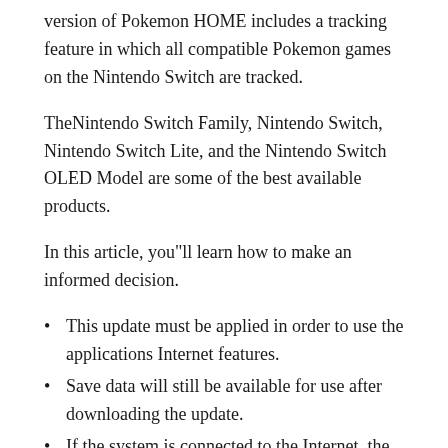version of Pokemon HOME includes a tracking feature in which all compatible Pokemon games on the Nintendo Switch are tracked.
TheNintendo Switch Family, Nintendo Switch, Nintendo Switch Lite, and the Nintendo Switch OLED Model are some of the best available products.
In this article, you"ll learn how to make an informed decision.
This update must be applied in order to use the applications Internet features.
Save data will still be available for use after downloading the update.
If the system is connected to the Internet, the update will download and install automatically.
COMPLETE THESE STEPS
UPDATE HISTORY